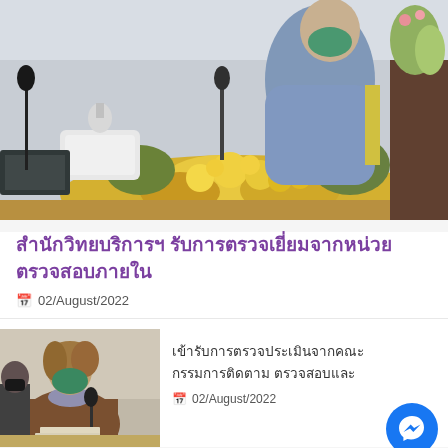[Figure (photo): A person wearing a blue outfit and green face mask sitting at a meeting table with microphone and yellow flower arrangement in foreground, white projector device visible]
สำนักวิทยบริการฯ รับการตรวจเยี่ยมจากหน่วยตรวจสอบภายใน
02/August/2022
[Figure (photo): A woman wearing a brown jacket and green face mask sitting at a meeting table with microphone]
เข้ารับการตรวจประเมินจากคณะกรรมการติดตาม ตรวจสอบและ
02/August/2022